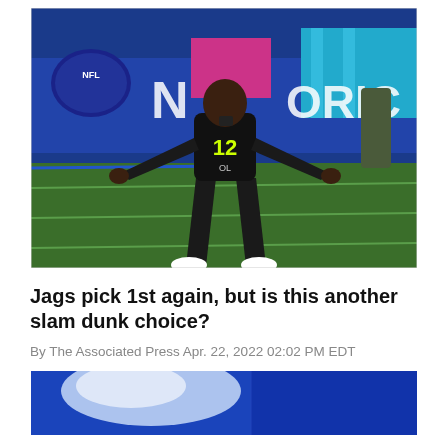[Figure (photo): Football player wearing black jersey with number 12 and 'OL' label in a wide stance on a green turf field at NFL Combine. Background shows blue and pink banners with NFL Network and partial text 'N' and 'ORK'.]
Jags pick 1st again, but is this another slam dunk choice?
By The Associated Press Apr. 22, 2022 02:02 PM EDT
[Figure (photo): Partial photo showing blue surface with bright light reflection, likely from a stadium or arena setting.]